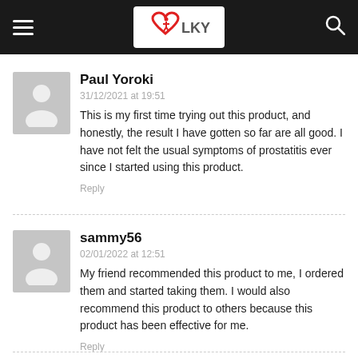LKY (logo)
Paul Yoroki
31/12/2021 at 19:51
This is my first time trying out this product, and honestly, the result I have gotten so far are all good. I have not felt the usual symptoms of prostatitis ever since I started using this product.
Reply
sammy56
02/01/2022 at 12:51
My friend recommended this product to me, I ordered them and started taking them. I would also recommend this product to others because this product has been effective for me.
Reply